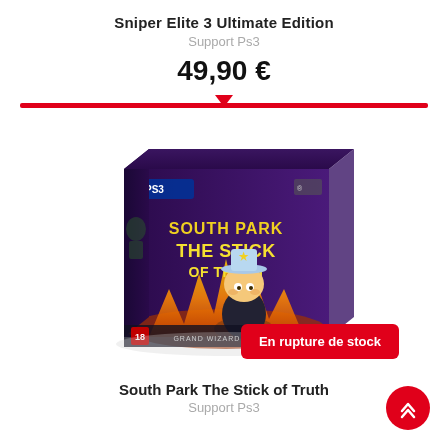Sniper Elite 3 Ultimate Edition
Support Ps3
49,90 €
[Figure (photo): South Park The Stick of Truth Grand Wizard Edition PS3 game box with Cartman figurine]
En rupture de stock
South Park The Stick of Truth
Support Ps3